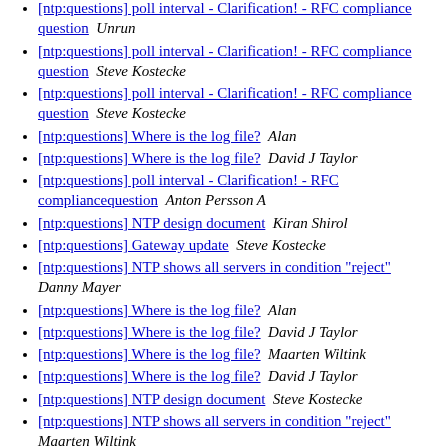[ntp:questions] poll interval - Clarification! - RFC compliance question  Unrun
[ntp:questions] poll interval - Clarification! - RFC compliance question  Steve Kostecke
[ntp:questions] poll interval - Clarification! - RFC compliance question  Steve Kostecke
[ntp:questions] Where is the log file?  Alan
[ntp:questions] Where is the log file?  David J Taylor
[ntp:questions] poll interval - Clarification! - RFC compliancequestion  Anton Persson A
[ntp:questions] NTP design document  Kiran Shirol
[ntp:questions] Gateway update  Steve Kostecke
[ntp:questions] NTP shows all servers in condition "reject"  Danny Mayer
[ntp:questions] Where is the log file?  Alan
[ntp:questions] Where is the log file?  David J Taylor
[ntp:questions] Where is the log file?  Maarten Wiltink
[ntp:questions] Where is the log file?  David J Taylor
[ntp:questions] NTP design document  Steve Kostecke
[ntp:questions] NTP shows all servers in condition "reject"  Maarten Wiltink
[ntp:questions] poll interval - Clarification! - RFC compliancequestion  Steve Kostecke
[ntp:questions] poll interval - Clarification! - RFC compliancequestion  Richard B. Gilbert
[ntp:questions] poll interval - Clarification! - RFC compliancequestion  Harlan Stenn